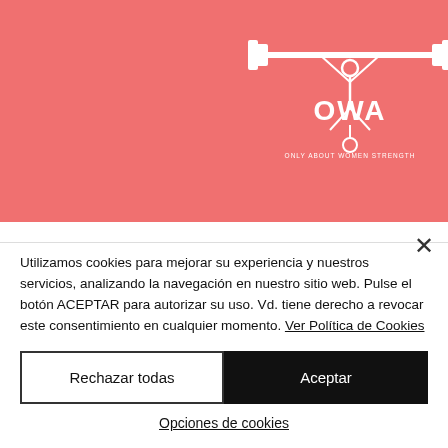[Figure (logo): OWA (Only About Women Strength) logo in white on salmon/pink background with barbell and female symbol]
f this ects haven't been discovered?
To find out, I interviewed a number of experts, including John G. Moore of the University of Toronto, and distinction with...
Utilizamos cookies para mejorar su experiencia y nuestros servicios, analizando la navegación en nuestro sitio web. Pulse el botón ACEPTAR para autorizar su uso. Vd. tiene derecho a revocar este consentimiento en cualquier momento. Ver Política de Cookies
Rechazar todas
Aceptar
Opciones de cookies